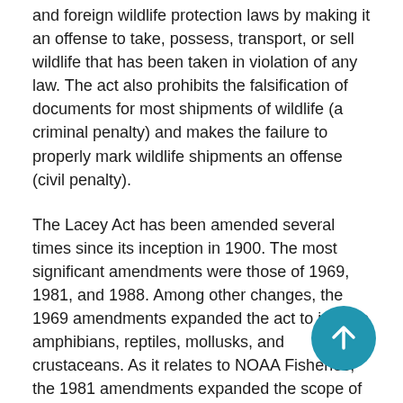and foreign wildlife protection laws by making it an offense to take, possess, transport, or sell wildlife that has been taken in violation of any law. The act also prohibits the falsification of documents for most shipments of wildlife (a criminal penalty) and makes the failure to properly mark wildlife shipments an offense (civil penalty).
The Lacey Act has been amended several times since its inception in 1900. The most significant amendments were those of 1969, 1981, and 1988. Among other changes, the 1969 amendments expanded the act to include amphibians, reptiles, mollusks, and crustaceans. As it relates to NOAA Fisheries, the 1981 amendments expanded the scope of the act in response to an increase in the illegal trade of fish and wildlife, both domestically and internationally. Additionally, new language was adapted, and the penalties for civil and criminal violations were increased.
The Lacey Act is considered one of the broadest and most